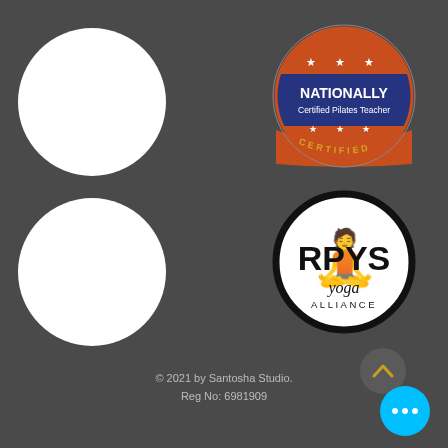[Figure (illustration): White circle top left placeholder]
[Figure (logo): Nationally Certified Pilates Teacher badge - circular badge with orange top half showing three stars, navy blue band with NATIONALLY in white bold text, Certified Pilates Teacher below, orange bottom section with three stars, navy curved bottom with CERTIFIED text in gold]
[Figure (illustration): White circle bottom left placeholder]
[Figure (logo): RPYS Yoga Alliance circular logo - white circle with black border, RPYS in large bold black text, yoga Alliance in italic below, faint yoga symbol watermark in background]
[Figure (other): Dark grey circle with upward chevron arrow in gold/orange]
© 2021 by Santosha Studio.
Reg No: 6981909
[Figure (other): Cyan/blue circle button with three white dots (chat button)]